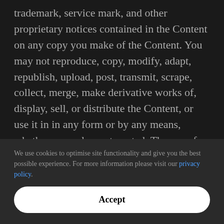trademark, service mark, and other proprietary notices contained in the Content on any copy you make of the Content. You may not reproduce, copy, modify, adapt, republish, upload, post, transmit, scrape, collect, merge, make derivative works of, display, sell, or distribute the Content, or use it in in any form or by any means, whether manual or automated. The use of any such materials on any other Site or networked computer environment for any other purpose is strictly prohibited; any such unauthorised use may violate copyright, trademark and other applicable laws and could result in criminal
We use cookies to optimise site functionality and give you the best possible experience. For more information please visit our privacy policy.